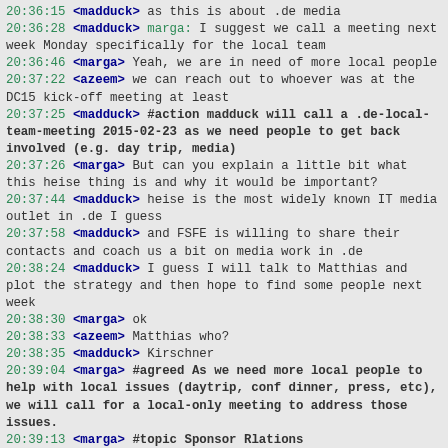20:36:15 <madduck> as this is about .de media
20:36:28 <madduck> marga: I suggest we call a meeting next week Monday specifically for the local team
20:36:46 <marga> Yeah, we are in need of more local people
20:37:22 <azeem> we can reach out to whoever was at the DC15 kick-off meeting at least
20:37:25 <madduck> #action madduck will call a .de-local-team-meeting 2015-02-23 as we need people to get back involved (e.g. day trip, media)
20:37:26 <marga> But can you explain a little bit what this heise thing is and why it would be important?
20:37:44 <madduck> heise is the most widely known IT media outlet in .de I guess
20:37:58 <madduck> and FSFE is willing to share their contacts and coach us a bit on media work in .de
20:38:24 <madduck> I guess I will talk to Matthias and plot the strategy and then hope to find some people next week
20:38:30 <marga> ok
20:38:33 <azeem> Matthias who?
20:38:35 <madduck> Kirschner
20:39:04 <marga> #agreed As we need more local people to help with local issues (daytrip, conf dinner, press, etc), we will call for a local-only meeting to address those issues.
20:39:13 <marga> #topic Sponsor Rlations
20:39:17 <marga> #topic Sponsor Relations
20:39:47 <madduck> this is like a 3 tier topic I guess
20:40:04 <madduck> short-term, we need to figure out